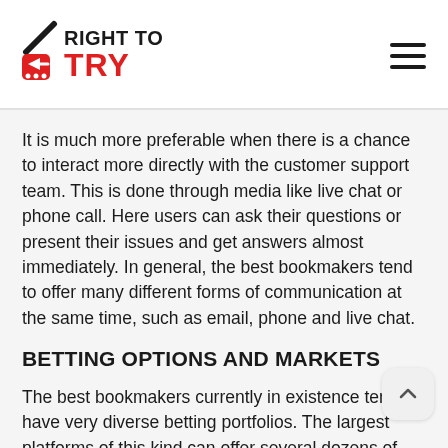RIGHT TO TRY
It is much more preferable when there is a chance to interact more directly with the customer support team. This is done through media like live chat or phone call. Here users can ask their questions or present their issues and get answers almost immediately. In general, the best bookmakers tend to offer many different forms of communication at the same time, such as email, phone and live chat.
BETTING OPTIONS AND MARKETS
The best bookmakers currently in existence tend to have very diverse betting portfolios. The largest platforms of this kind can offer several dozens of disciplines. They tend to have sports like football,